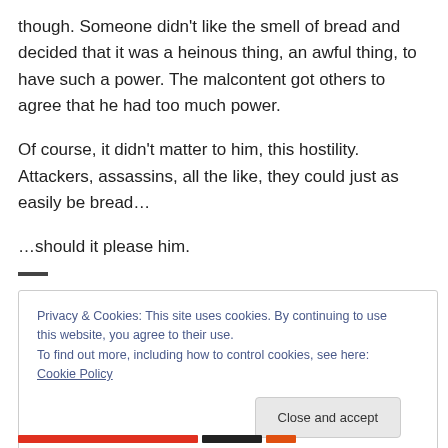though. Someone didn't like the smell of bread and decided that it was a heinous thing, an awful thing, to have such a power. The malcontent got others to agree that he had too much power.

Of course, it didn't matter to him, this hostility. Attackers, assassins, all the like, they could just as easily be bread…

…should it please him.
Privacy & Cookies: This site uses cookies. By continuing to use this website, you agree to their use.
To find out more, including how to control cookies, see here: Cookie Policy
Close and accept